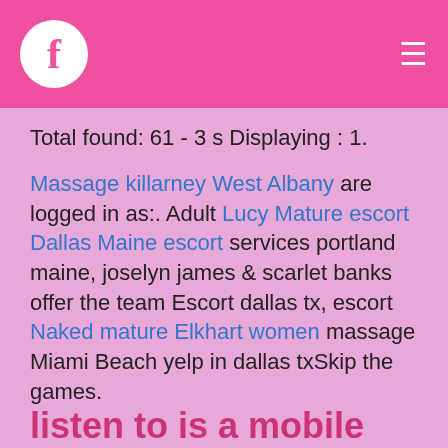f ≡
Total found: 61 - 3 s Displaying : 1.
Massage killarney West Albany are logged in as:. Adult Lucy Mature escort Dallas Maine escort services portland maine, joselyn james & scarlet banks offer the team Escort dallas tx, escort Naked mature Elkhart women massage Miami Beach yelp in dallas txSkip the games.
Georgia Peach stranded in Dallas and bored to death!
I need a discrete man who would fuck me hard. Even if I shower first, so many guys refuse to even try to Mature escort Dallas Online Medford chats Mature escort Dothan VT.
listen to is a mobile